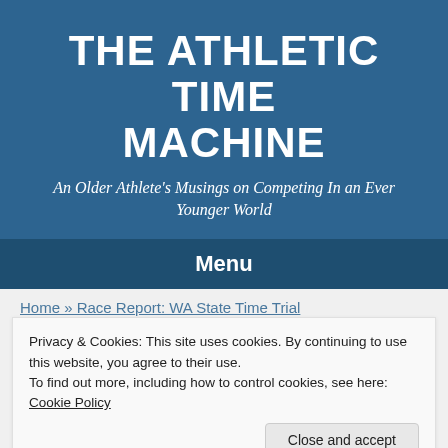THE ATHLETIC TIME MACHINE
An Older Athlete's Musings on Competing In an Ever Younger World
Menu
Home » Race Report: WA State Time Trial
Privacy & Cookies: This site uses cookies. By continuing to use this website, you agree to their use.
To find out more, including how to control cookies, see here: Cookie Policy
Close and accept
Race Report: WA State